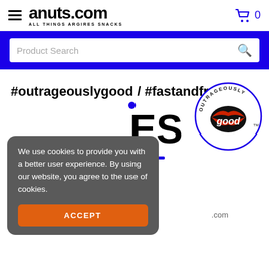anuts.com — ALL THINGS ARGIRES SNACKS — Cart: 0
Product Search
#outrageouslygood / #fastandfresh
[Figure (logo): Outrageously Good logo — circular badge with red lips, text OUTRAGEOUSLY above and 'good' in white script inside a black oval, with TM mark]
We use cookies to provide you with a better user experience. By using our website, you agree to the use of cookies.
ACCEPT
.com